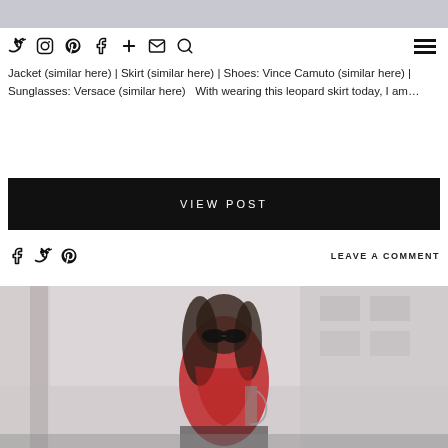[Figure (photo): Top partial image of street scene, light gray/muted]
Social media navigation icons: Twitter, Instagram, Pinterest, Facebook, Plus, Mail, Search, Hamburger menu
Jacket (similar here) | Skirt (similar here) | Shoes: Vince Camuto (similar here) | Sunglasses: Versace (similar here)   With wearing this leopard skirt today, I am...
VIEW POST
LEAVE A COMMENT
[Figure (photo): Woman with long dark hair wearing red jacket and sunglasses, standing outdoors in front of a building. Urban street style fashion photo.]